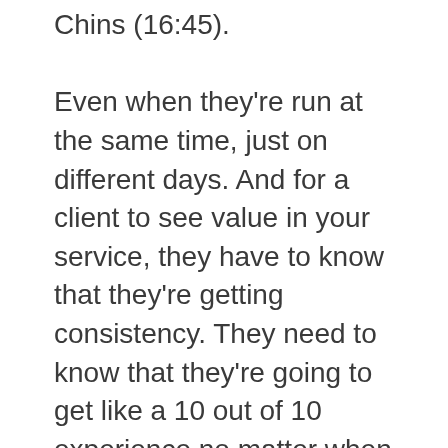Chins (16:45). Even when they're run at the same time, just on different days. And for a client to see value in your service, they have to know that they're getting consistency. They need to know that they're going to get like a 10 out of 10 experience no matter when they show up. You cannot allow yourself to have one bad coach. OK? Even if that coach means that you can sleep in an extra hour once a week, and you really, really need that sleep, you cannot have one weak link in your chain. Your business is only as valuable as your weakest employee. So the second law value is consistency. The third law is attention. Now, when we started doing personal training, we quickly realized